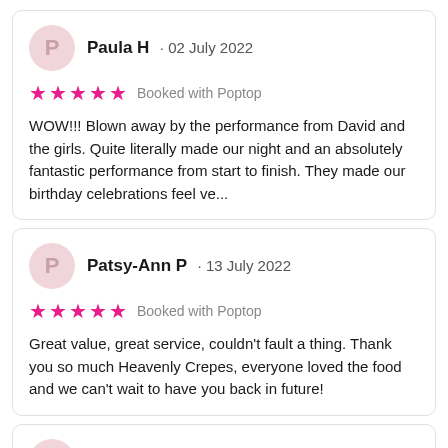Paula H · 02 July 2022
★★★★★ Booked with Poptop
WOW!!! Blown away by the performance from David and the girls. Quite literally made our night and an absolutely fantastic performance from start to finish. They made our birthday celebrations feel ve...
Patsy-Ann P · 13 July 2022
★★★★★ Booked with Poptop
Great value, great service, couldn't fault a thing. Thank you so much Heavenly Crepes, everyone loved the food and we can't wait to have you back in future!
Maria H · 22 August 2021